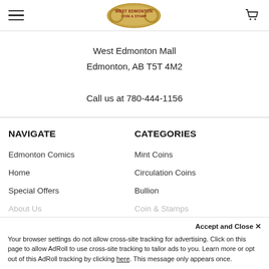West Edmonton Coin & Stamp — navigation header with logo and cart
West Edmonton Mall
Edmonton, AB T5T 4M2

Call us at 780-444-1156
NAVIGATE
CATEGORIES
Edmonton Comics
Mint Coins
Home
Circulation Coins
Special Offers
Bullion
About Us
Coin & Stamps
Accept and Close ✕
Your browser settings do not allow cross-site tracking for advertising. Click on this page to allow AdRoll to use cross-site tracking to tailor ads to you. Learn more or opt out of this AdRoll tracking by clicking here. This message only appears once.